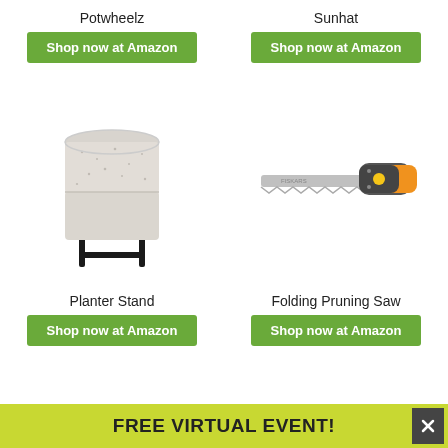Potwheelz
Shop now at Amazon
Sunhat
Shop now at Amazon
[Figure (photo): White speckled ceramic pot on a black metal stand]
[Figure (photo): Folding pruning saw with orange and grey handle]
Planter Stand
Shop now at Amazon
Folding Pruning Saw
Shop now at Amazon
FREE VIRTUAL EVENT!